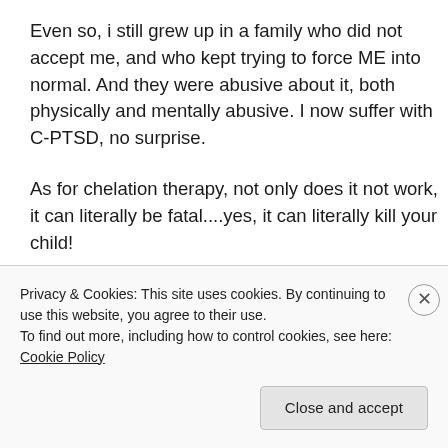Even so, i still grew up in a family who did not accept me, and who kept trying to force ME into normal. And they were abusive about it, both physically and mentally abusive. I now suffer with C-PTSD, no surprise.
As for chelation therapy, not only does it not work, it can literally be fatal....yes, it can literally kill your child!
“To anyone reading this: steer clear of
Privacy & Cookies: This site uses cookies. By continuing to use this website, you agree to their use.
To find out more, including how to control cookies, see here: Cookie Policy